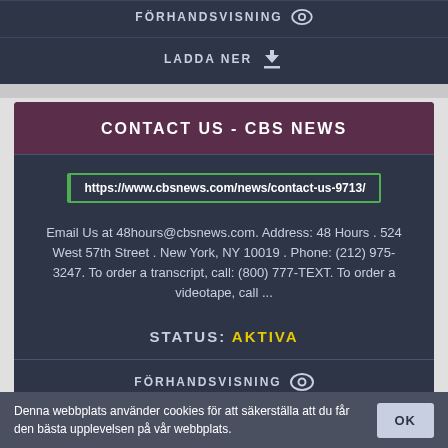FÖRHANDSVISNING
LADDA NER
CONTACT US - CBS NEWS
https://www.cbsnews.com/news/contact-us-9713/
Email Us at 48hours@cbsnews.com. Address: 48 Hours . 524 West 57th Street . New York, NY 10019 . Phone: (212) 975-3247. To order a transcript, call: (800) 777-TEXT. To order a videotape, call ...
STATUS: AKTIVA
FÖRHANDSVISNING
LADDA NER
Denna webbplats använder cookies för att säkerställa att du får den bästa upplevelsen på vår webbplats.